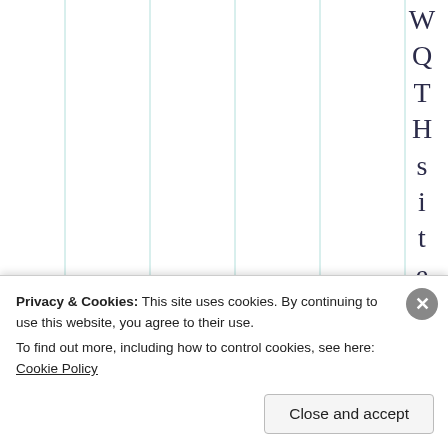[Figure (other): Partial view of a vertical bar chart with light green/teal vertical grid lines on white background. The chart occupies the upper portion of the page.]
W Q T H s i t e a n d
Privacy & Cookies: This site uses cookies. By continuing to use this website, you agree to their use.
To find out more, including how to control cookies, see here: Cookie Policy
Close and accept